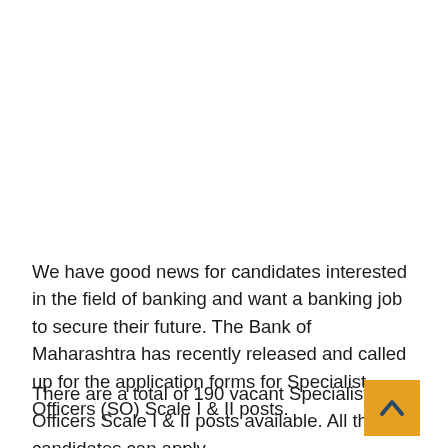We have good news for candidates interested in the field of banking and want a banking job to secure their future. The Bank of Maharashtra has recently released and called up for the application forms for Specialist Officers (SO) Scale I & II posts.
There are a total of 190 vacant Specialist Officers Scale I & II posts available. All the candidates can apply